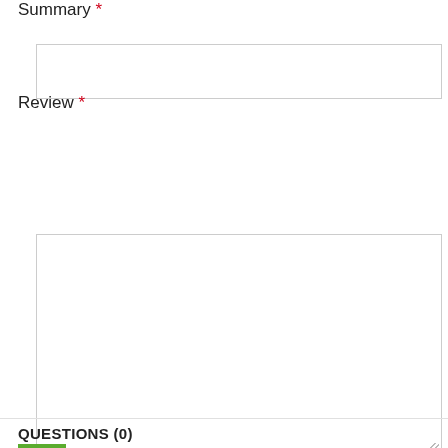Summary *
[Figure (screenshot): Empty text input box for Summary field]
Review *
[Figure (screenshot): Large empty textarea for Review field with resize handle]
[Figure (screenshot): Green Submit Review button]
QUESTIONS (0)
[Figure (screenshot): Red Contact Us button]